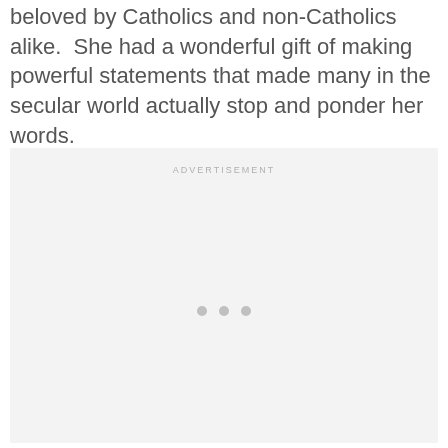beloved by Catholics and non-Catholics alike.  She had a wonderful gift of making powerful statements that made many in the secular world actually stop and ponder her words.
[Figure (other): Advertisement placeholder box with light gray background, 'ADVERTISEMENT' label at top center, and three small gray dots centered in the middle of the box.]